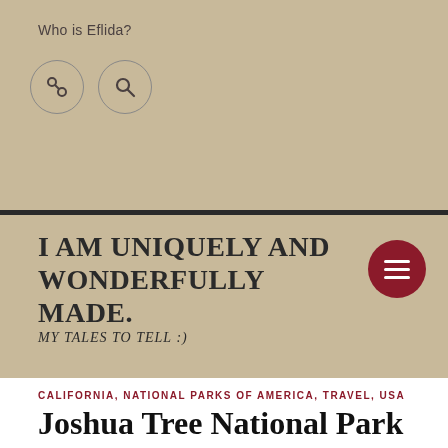Who is Eflida?
I AM UNIQUELY AND WONDERFULLY MADE.
MY TALES TO TELL :)
CALIFORNIA, NATIONAL PARKS OF AMERICA, TRAVEL, USA
Joshua Tree National Park – California
[Figure (photo): Blue sky image with watermark text 'becauseiamuniquelyandwonderfullymade.com']